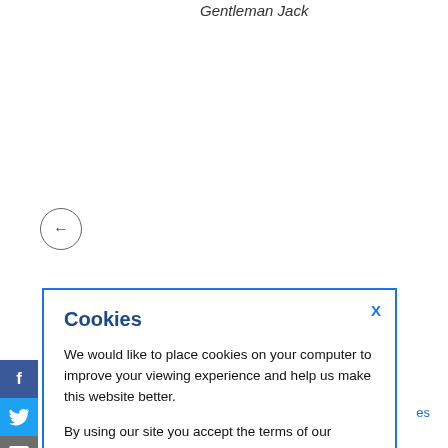Gentleman Jack
[Figure (other): Navigation back arrow inside a circle]
[Figure (other): Social media sharing sidebar with Facebook, Twitter, print, share, and plus icons]
Cookies
We would like to place cookies on your computer to improve your viewing experience and help us make this website better.
By using our site you accept the terms of our Privacy Policy.
OKAY, THANKS
ew study of the feminists and socialists who campaigned against